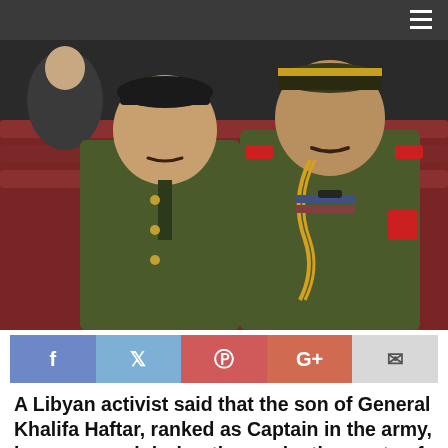[Figure (photo): Two men in olive green military uniforms sitting in red theater seats. The man on the right wears a higher-rank uniform with gold braided shoulder lanyard, gold-trimmed cap, and red epaulettes. Both appear to be attending a formal military ceremony.]
[Figure (infographic): Social media share buttons row: Facebook (blue), Twitter (blue), Pinterest (red), Google+ (red-orange), Email (grey)]
A Libyan activist said that the son of General Khalifa Haftar, ranked as Captain in the army, has appeared during the graduation party of some Libyan officers in Jordan